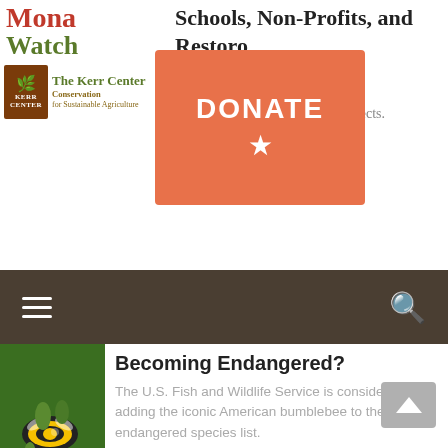[Figure (logo): MonaWatch logo - orange/red text]
[Figure (logo): The Kerr Center Conservation for Sustainable Agriculture logo]
Schools, Non-Profits, and Restoration Projects
Monarch W... seedlings to... as for large-scale restoration projects.
[Figure (other): DONATE button with orange background and star]
[Figure (photo): Bumblebee on white flowers with green leaves]
Becoming Endangered?
The U.S. Fish and Wildlife Service is considering adding the iconic American bumblebee to the endangered species list.
[Figure (illustration): Symbolic Monarch Migration logo - monarch butterfly with text]
Symbolic Monarch Migration Project
In the Symbolic Monarch Migration Project, students in the U.S., Canada, and Mexico make and exchange life-sized paper monarchs.